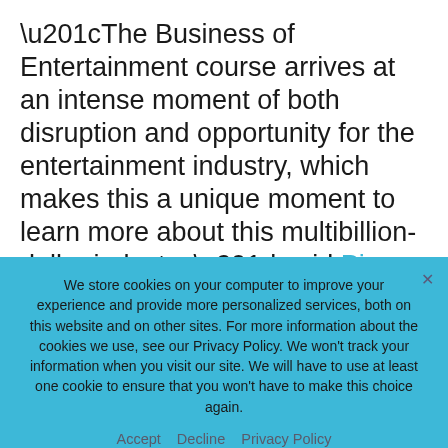“The Business of Entertainment course arrives at an intense moment of both disruption and opportunity for the entertainment industry, which makes this a unique moment to learn more about this multibillion-dollar industry,” said Pierre Yared, the MUTB Professor of International Business and Vice Dean for Executive Education atColumbia Business School.  “Columbia is excited to partner with such renowned leaders in the media, finance and entertainment arena to
We store cookies on your computer to improve your experience and provide more personalized services, both on this website and on other sites. For more information about the cookies we use, see our Privacy Policy. We won’t track your information when you visit our site. We will have to use at least one cookie to ensure that you won’t have to make this choice again.
Accept   Decline   Privacy Policy